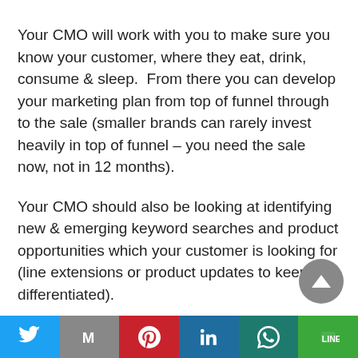Your CMO will work with you to make sure you know your customer, where they eat, drink, consume & sleep.  From there you can develop your marketing plan from top of funnel through to the sale (smaller brands can rarely invest heavily in top of funnel – you need the sale now, not in 12 months).
Your CMO should also be looking at identifying new & emerging keyword searches and product opportunities which your customer is looking for (line extensions or product updates to keep you differentiated).
[Figure (other): Social media share bar with icons for Twitter, Gmail, Pinterest, LinkedIn, WhatsApp, and LINE]